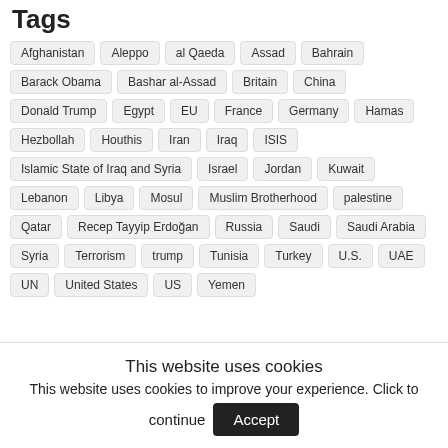Tags
Afghanistan
Aleppo
al Qaeda
Assad
Bahrain
Barack Obama
Bashar al-Assad
Britain
China
Donald Trump
Egypt
EU
France
Germany
Hamas
Hezbollah
Houthis
Iran
Iraq
ISIS
Islamic State of Iraq and Syria
Israel
Jordan
Kuwait
Lebanon
Libya
Mosul
Muslim Brotherhood
palestine
Qatar
Recep Tayyip Erdoğan
Russia
Saudi
Saudi Arabia
Syria
Terrorism
trump
Tunisia
Turkey
U.S.
UAE
UN
United States
US
Yemen
This website uses cookies
This website uses cookies to improve your experience. Click to continue Accept